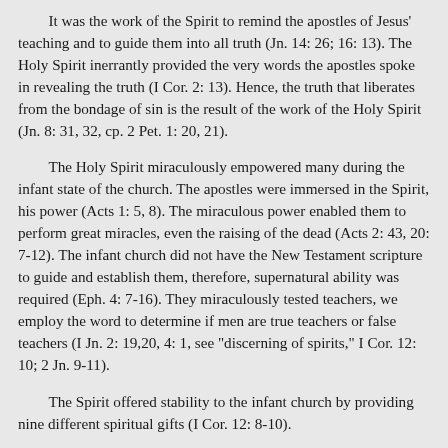It was the work of the Spirit to remind the apostles of Jesus' teaching and to guide them into all truth (Jn. 14: 26; 16: 13). The Holy Spirit inerrantly provided the very words the apostles spoke in revealing the truth (I Cor. 2: 13). Hence, the truth that liberates from the bondage of sin is the result of the work of the Holy Spirit (Jn. 8: 31, 32, cp. 2 Pet. 1: 20, 21).
The Holy Spirit miraculously empowered many during the infant state of the church. The apostles were immersed in the Spirit, his power (Acts 1: 5, 8). The miraculous power enabled them to perform great miracles, even the raising of the dead (Acts 2: 43, 20: 7-12). The infant church did not have the New Testament scripture to guide and establish them, therefore, supernatural ability was required (Eph. 4: 7-16). They miraculously tested teachers, we employ the word to determine if men are true teachers or false teachers (I Jn. 2: 19,20, 4: 1, see "discerning of spirits," I Cor. 12: 10; 2 Jn. 9-11).
The Spirit offered stability to the infant church by providing nine different spiritual gifts (I Cor. 12: 8-10).